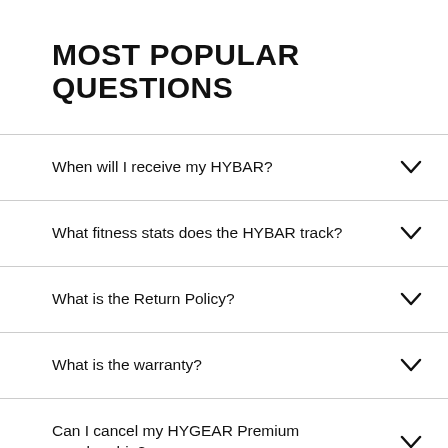MOST POPULAR QUESTIONS
When will I receive my HYBAR?
What fitness stats does the HYBAR track?
What is the Return Policy?
What is the warranty?
Can I cancel my HYGEAR Premium membership?